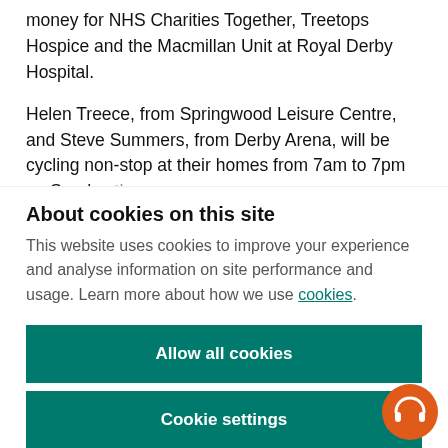money for NHS Charities Together, Treetops Hospice and the Macmillan Unit at Royal Derby Hospital.
Helen Treece, from Springwood Leisure Centre, and Steve Summers, from Derby Arena, will be cycling non-stop at their homes from 7am to 7pm on Sunday th
About cookies on this site
This website uses cookies to improve your experience and analyse information on site performance and usage. Learn more about how we use cookies.
Allow all cookies
Cookie settings